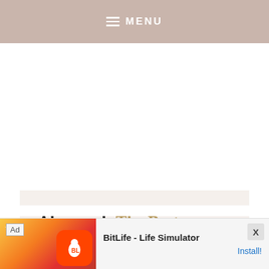MENU
Also read: The Best Instagram Spots in Kaohsiung
[Figure (screenshot): Mobile advertisement banner for BitLife - Life Simulator app with Install button]